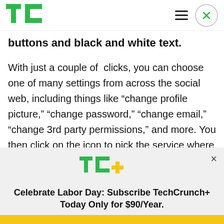TechCrunch
buttons and black and white text.
With just a couple of  clicks, you can choose one of many settings from across the social web, including things like “change profile picture,” “change password,” “change email,” “change 3rd party permissions,” and more. You then click on the icon to pick the service where you want to make the
[Figure (logo): TC+ TechCrunch Plus logo in green and yellow]
Celebrate Labor Day: Subscribe TechCrunch+ Today Only for $90/Year.
GET OFFER NOW